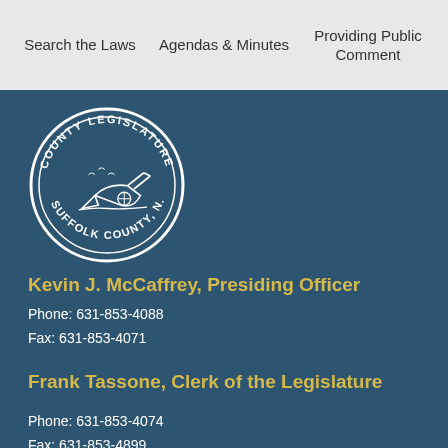Search the Laws   Agendas & Minutes   Providing Public Comment
[Figure (logo): Suffolk County Legislature seal — circular seal with text 'COUNTY LEGISLATURE' on top arc and 'SUFFOLK COUNTY, N.Y.' on bottom arc, with an illustration of a plow in the center]
Kevin J. McCaffrey, Presiding Officer
Phone: 631-853-4088
Fax: 631-853-4071
Frank Tassone, Clerk of the Legislature
Phone: 631-853-4074
Fax: 631-853-4899